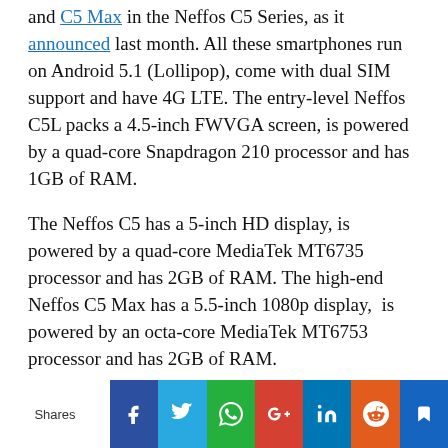and C5 Max in the Neffos C5 Series, as it announced last month. All these smartphones run on Android 5.1 (Lollipop), come with dual SIM support and have 4G LTE. The entry-level Neffos C5L packs a 4.5-inch FWVGA screen, is powered by a quad-core Snapdragon 210 processor and has 1GB of RAM.
The Neffos C5 has a 5-inch HD display, is powered by a quad-core MediaTek MT6735 processor and has 2GB of RAM. The high-end Neffos C5 Max has a 5.5-inch 1080p display, is powered by an octa-core MediaTek MT6753 processor and has 2GB of RAM.
[Figure (infographic): Social share bar with Facebook, Twitter, WhatsApp, Google+, LinkedIn, Reddit, and a bookmark/more icon buttons]